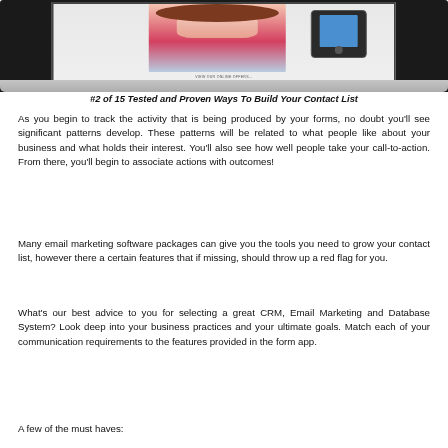[Figure (photo): Laptop computer showing a website with a woman smiling, a mobile device, and text 'VIEW OUR ONLINE OFFERS']
#2 of 15 Tested and Proven Ways To Build Your Contact List
As you begin to track the activity that is being produced by your forms, no doubt you'll see significant patterns develop. These patterns will be related to what people like about your business and what holds their interest. You'll also see how well people take your call-to-action. From there, you'll begin to associate actions with outcomes!
Many email marketing software packages can give you the tools you need to grow your contact list, however there a certain features that if missing, should throw up a red flag for you.
What's our best advice to you for selecting a great CRM, Email Marketing and Database System? Look deep into your business practices and your ultimate goals. Match each of your communication requirements to the features provided in the form app.
A few of the must haves: